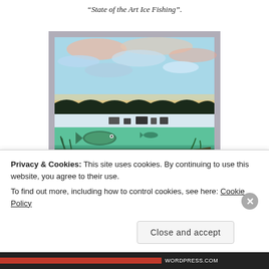“State of the Art Ice Fishing”.
[Figure (illustration): A painting showing an ice fishing scene: colorful sunset sky over a frozen lake with ice fishing shelters on the surface, and below the ice a view of fish and underwater vegetation in green water.]
“ State of the Art Life Under Ice”
As a native Minnesotan I know the
Privacy & Cookies: This site uses cookies. By continuing to use this website, you agree to their use.
To find out more, including how to control cookies, see here: Cookie Policy
Close and accept